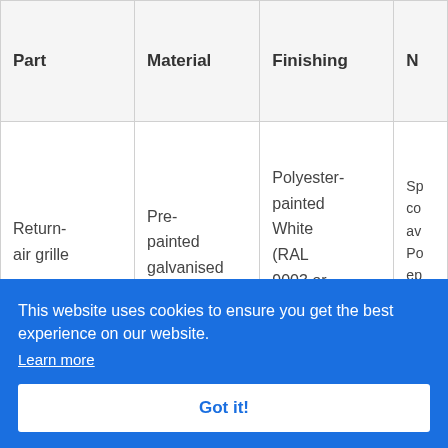| Part | Material | Finishing | N |
| --- | --- | --- | --- |
| Return-air grille | Pre-painted galvanised | Polyester-painted White (RAL 9003 or ... | Sp... co... av... Po... ep... po... |
|  |  | painted | Sp... |
This website uses cookies to ensure you get the best experience on our website. Learn more
Got it!